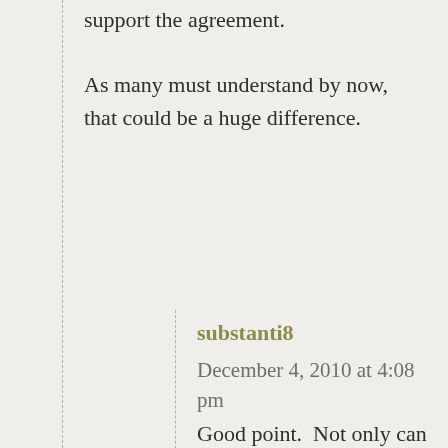support the agreement. As many must understand by now, that could be a huge difference.
substanti8
December 4, 2010 at 4:08 pm
Good point.  Not only can the environment not withstand more pollution – especially carbon dioxide.  Not only can the social infrastructure not